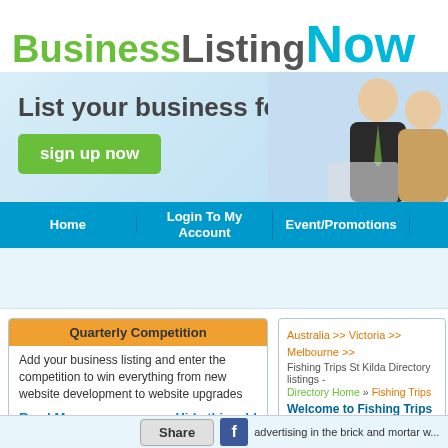[Figure (logo): BusinessListingNow logo with green 'Business', grey 'Listing', and cyan 'Now' text]
[Figure (infographic): Light blue banner with 'List your business for free!' tagline, green sign up now button, and two business people photo on right]
Home | Login To My Account | Event/Promotions
Quarterly Competition - Add your business listing and enter the competition to win everything from new website development to website upgrades
Read More...    Hide this add
Australia >> Victoria >> Melbourne >> Fishing Trips St Kilda Directory listings - Directory Home » Fishing Trips
Welcome to Fishing Trips St Kilda
Business listing now is one stop sho... business on our site is that you will b... advertising in the brick and mortar w...
Share